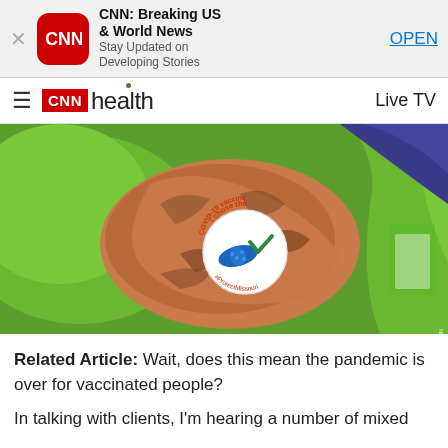[Figure (screenshot): App store banner for CNN: Breaking US & World News app with close button, CNN icon, app name, subtitle 'Stay Updated on Developing Stories', and OPEN button]
CNN health   Live TV
[Figure (photo): Close-up of a tattooed arm wearing a green garment with a round 'I chose the COVID-19 vaccine' sticker placed on the upper arm, showing a bandage and checkmark logo]
Related Article: Wait, does this mean the pandemic is over for vaccinated people?
In talking with clients, I'm hearing a number of mixed